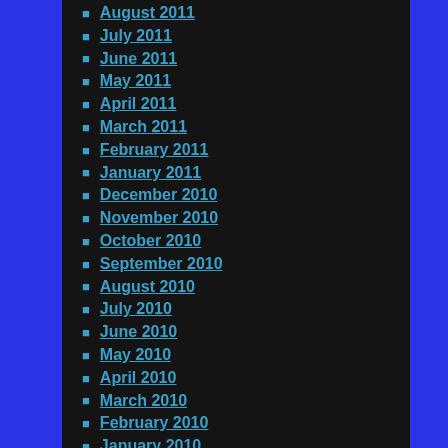August 2011
July 2011
June 2011
May 2011
April 2011
March 2011
February 2011
January 2011
December 2010
November 2010
October 2010
September 2010
August 2010
July 2010
June 2010
May 2010
April 2010
March 2010
February 2010
January 2010
December 2009